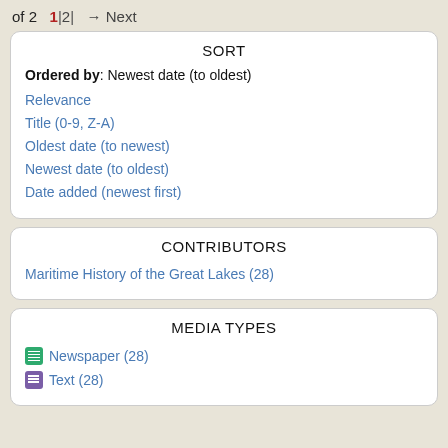of 2   1 | 2 |  → Next
SORT
Ordered by: Newest date (to oldest)
Relevance
Title (0-9, Z-A)
Oldest date (to newest)
Newest date (to oldest)
Date added (newest first)
CONTRIBUTORS
Maritime History of the Great Lakes (28)
MEDIA TYPES
Newspaper (28)
Text (28)